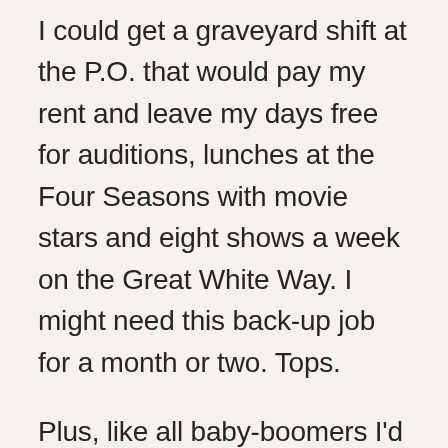I could get a graveyard shift at the P.O. that would pay my rent and leave my days free for auditions, lunches at the Four Seasons with movie stars and eight shows a week on the Great White Way. I might need this back-up job for a month or two. Tops.
Plus, like all baby-boomers I'd grown up watching The Merry Mailman on TV so I had a special affection for all